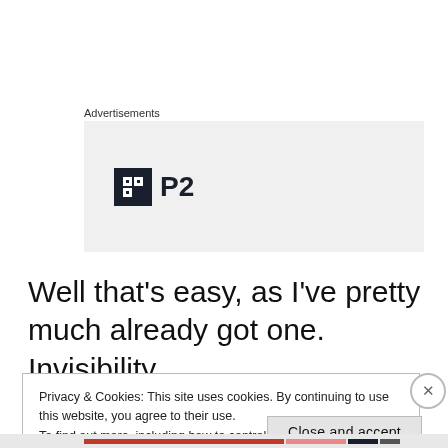Advertisements
[Figure (logo): P2 logo — dark square icon with white grid and 'P2' text beside it on a light grey background]
Well that’s easy, as I’ve pretty much already got one. Invisibility.
Privacy & Cookies: This site uses cookies. By continuing to use this website, you agree to their use.
To find out more, including how to control cookies, see here: Cookie Policy
Close and accept